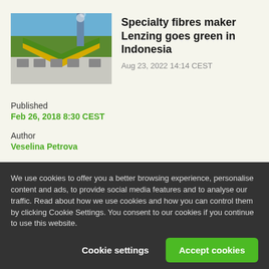[Figure (photo): Industrial building with green and yellow chevron pattern facade, chimney stack and blue sky background]
Specialty fibres maker Lenzing goes green in Indonesia
Aug 23, 2022 14:14 CEST
Published
Feb 26, 2018 8:30 CEST
Author
Veselina Petrova
We use cookies to offer you a better browsing experience, personalise content and ads, to provide social media features and to analyse our traffic. Read about how we use cookies and how you can control them by clicking Cookie Settings. You consent to our cookies if you continue to use this website.
Cookie settings
Accept cookies